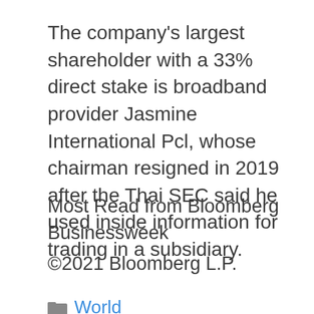The company's largest shareholder with a 33% direct stake is broadband provider Jasmine International Pcl, whose chairman resigned in 2019 after the Thai SEC said he used inside information for trading in a subsidiary.
Most Read from Bloomberg Businessweek
©2021 Bloomberg L.P.
World
< A UPS Driver's Kind Message to a Mother On His Route Went Viral, and Now He's Receiving Dozens of Gifts From Strangers as